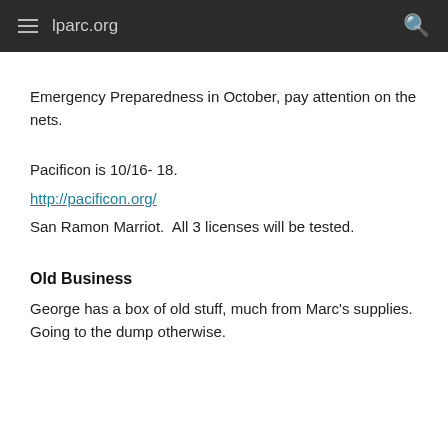lparc.org
Emergency Preparedness in October, pay attention on the nets.
Pacificon is 10/16- 18.
http://pacificon.org/
San Ramon Marriot.  All 3 licenses will be tested.
Old Business
George has a box of old stuff, much from Marc's supplies. Going to the dump otherwise.